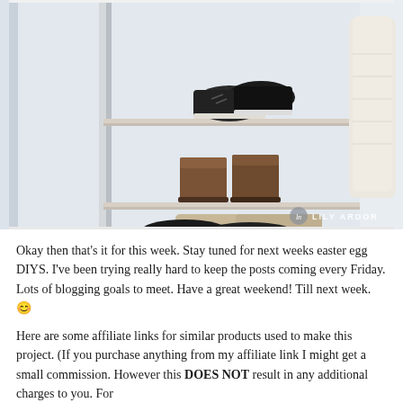[Figure (photo): A white wall-mounted shoe rack with multiple wooden shelves holding various shoes: black sneakers on top shelf, brown leather boots on second shelf, beige loafers on third shelf, and black flats/shoes on the bottom shelf. A cream knit garment hangs on the right. Watermark reads 'LILY ARDOR' in the bottom right corner.]
Okay then that's it for this week. Stay tuned for next weeks easter egg DIYS. I've been trying really hard to keep the posts coming every Friday. Lots of blogging goals to meet. Have a great weekend! Till next week. 😊
Here are some affiliate links for similar products used to make this project. (If you purchase anything from my affiliate link I might get a small commission. However this DOES NOT result in any additional charges to you. For